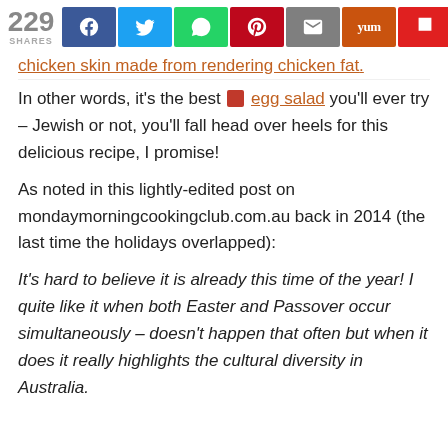229 SHARES [social share buttons: Facebook, Twitter, WhatsApp, Pinterest, Email, Yummly, Flipboard]
chicken skin made from rendering chicken fat.
In other words, it’s the best □ egg salad you’ll ever try – Jewish or not, you’ll fall head over heels for this delicious recipe, I promise!
As noted in this lightly-edited post on mondaymorningcookingclub.com.au back in 2014 (the last time the holidays overlapped):
It’s hard to believe it is already this time of the year! I quite like it when both Easter and Passover occur simultaneously – doesn’t happen that often but when it does it really highlights the cultural diversity in Australia.